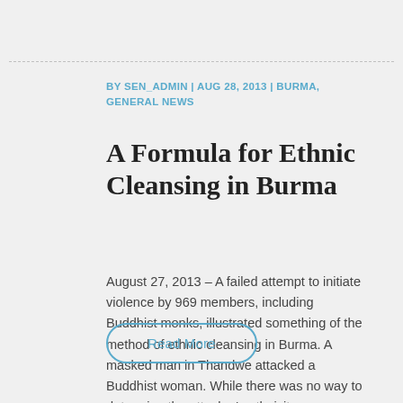BY SEN_ADMIN | AUG 28, 2013 | BURMA, GENERAL NEWS
A Formula for Ethnic Cleansing in Burma
August 27, 2013 – A failed attempt to initiate violence by 969 members, including Buddhist monks, illustrated something of the method of ethnic cleansing in Burma. A masked man in Thandwe attacked a Buddhist woman. While there was no way to determine the attacker's ethnicity, organized...
Read More